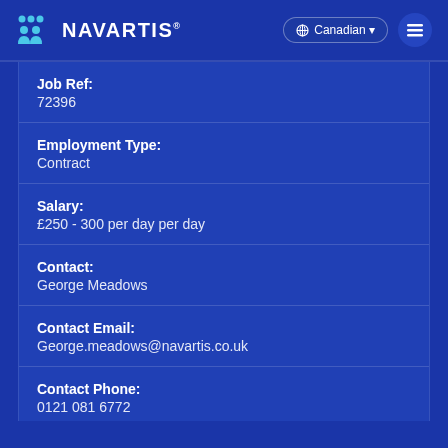Navartis — Canadian
Job Ref:
72396
Employment Type:
Contract
Salary:
£250 - 300 per day per day
Contact:
George Meadows
Contact Email:
George.meadows@navartis.co.uk
Contact Phone:
0121 081 6772